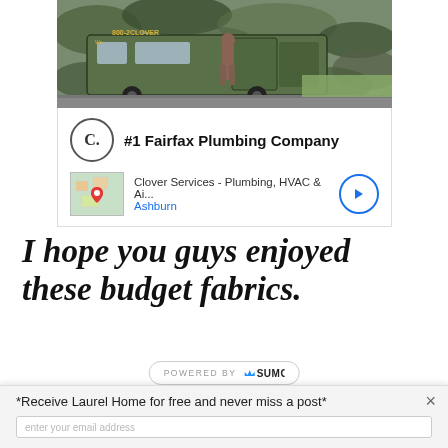[Figure (photo): Photo of a green camouflage-wrapped service van with '800-2CLOVER' text on it, a person standing beside the open door, parked on a street.]
#1 Fairfax Plumbing Company
Clover Services - Plumbing, HVAC & Ai... Ashburn
I hope you guys enjoyed these budget fabrics.
POWERED BY SUMO
×
*Receive Laurel Home for free and never miss a post*
enter your email address
YES! GIMME THE SUBSCRIPTION!